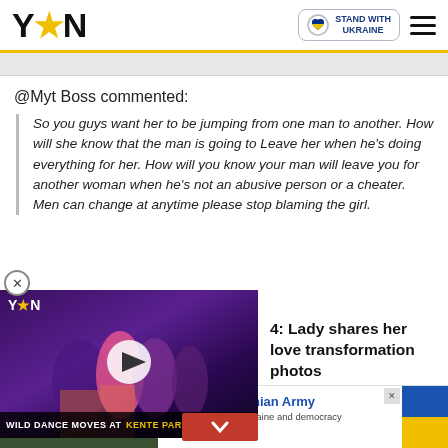YEN — Stand With Ukraine
@Myt Boss commented:
So you guys want her to be jumping from one man to another. How will she know that the man is going to Leave her when he's doing everything for her. How will you know your man will leave you for another woman when he's not an abusive person or a cheater. Men can change at anytime please stop blaming the girl.
[Figure (screenshot): YEN video thumbnail showing WILD DANCE MOVES AT KENTE PARTY 2019 with a play button overlay and YEN logo]
4: Lady shares her love transformation photos
[Figure (photo): Advertisement: Support Ukrainian Army - Donate to defend Ukraine and democracy, with Ukrainian flag colors]